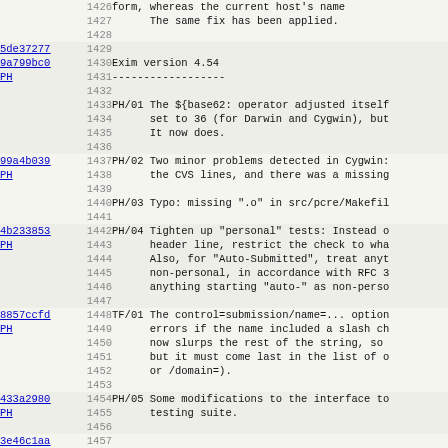Code changelog/diff view with line numbers 1426-1458, showing Exim version 4.54 changelog entries with commit hashes (5de37277, 9a799bc0, 99a4b039, 4b233853, 8857ccfd, 433a2980, 3e46c1aa, 9a799bc0) and author PH, with entries PH/01 through PH/05 and TF/01 describing bug fixes and changes.